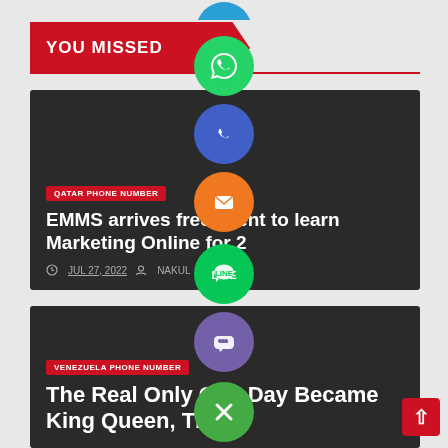YOU MISSED
[Figure (illustration): Social media share buttons (WhatsApp, phone, email, LINE, Viber, close) overlaid on the page as floating icons]
QATAR PHONE NUMBER
EMMS arrives free event to learn Marketing Online for 2
JUL 27, 2022
VENEZUELA PHONE NUMBER
The Real Only One Day Became King Queen, This